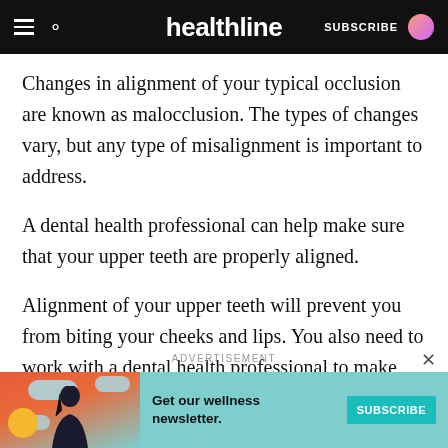healthline — SUBSCRIBE
Changes in alignment of your typical occlusion are known as malocclusion. The types of changes vary, but any type of misalignment is important to address.
A dental health professional can help make sure that your upper teeth are properly aligned.
Alignment of your upper teeth will prevent you from biting your cheeks and lips. You also need to work with a dental health professional to make sure that your lower teeth are aligned so you can protect your tongue.
ADVERTISEMENT
[Figure (illustration): Advertisement banner for Healthline wellness newsletter with a teal background, illustrated woman figure, cloud shapes, orange/red gradient, and a teal SUBSCRIBE button. Text reads: Get our wellness newsletter.]